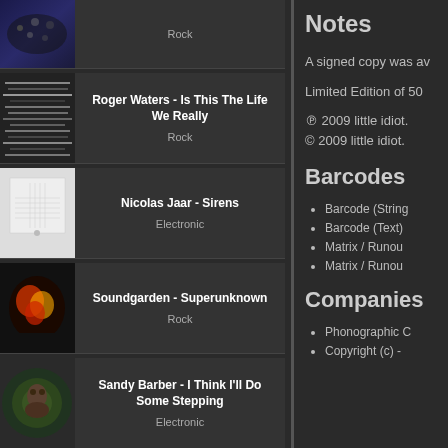[Figure (photo): Album artwork thumbnail - dark blue concert photo]
Rock
[Figure (photo): Album artwork - Roger Waters striped/glitch pattern]
Roger Waters - Is This The Life We Really
Rock
[Figure (photo): Album artwork - Nicolas Jaar Sirens white cover]
Nicolas Jaar - Sirens
Electronic
[Figure (photo): Album artwork - Soundgarden Superunknown dark cover]
Soundgarden - Superunknown
Rock
[Figure (photo): Album artwork - Sandy Barber portrait]
Sandy Barber - I Think I'll Do Some Stepping
Electronic
[Figure (photo): Album artwork - Midland Final Credits vinyl label]
Midland - Final Credits
Electronic
Notes
A signed copy was av
Limited Edition of 50
℗ 2009 little idiot.
© 2009 little idiot.
Barcodes
Barcode (String
Barcode (Text)
Matrix / Runou
Matrix / Runou
Companies
Phonographic C
Copyright (c) -